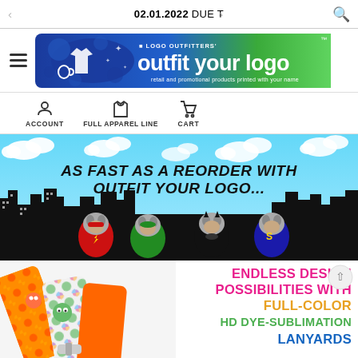02.01.2022 DUE T
[Figure (logo): Logo Outfitters - outfit your logo banner. Blue and green gradient background with white text. Tagline: retail and promotional products printed with your name.]
ACCOUNT   FULL APPAREL LINE   CART
[Figure (illustration): Superhero-themed promotional banner. Text reads: AS FAST AS A REORDER WITH OUTFIT YOUR LOGO... Four French bulldogs dressed as superheroes (The Flash, Green Lantern, Batman, Superman) in front of a city skyline silhouette on a blue sky with clouds background.]
[Figure (illustration): Promotional banner for lanyards. Left side shows colorful cartoon-printed lanyards. Right side has text: ENDLESS DESIGN POSSIBILITIES WITH FULL-COLOR HD DYE-SUBLIMATION LANYARDS in pink, orange, green, and blue.]